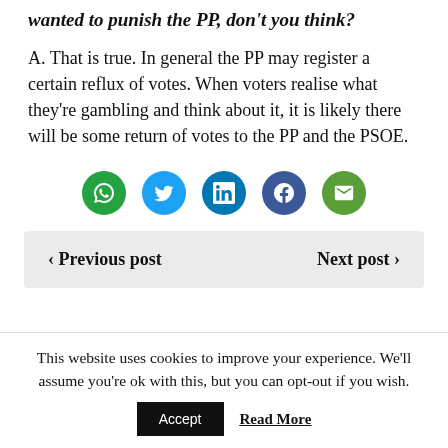wanted to punish the PP, don't you think?
A. That is true. In general the PP may register a certain reflux of votes. When voters realise what they're gambling and think about it, it is likely there will be some return of votes to the PP and the PSOE.
[Figure (infographic): Row of five social sharing icon circles: WhatsApp (green), Twitter (light blue), LinkedIn (dark blue), Facebook (dark blue), Email (olive green)]
< Previous post    Next post >
This website uses cookies to improve your experience. We'll assume you're ok with this, but you can opt-out if you wish.
Accept   Read More